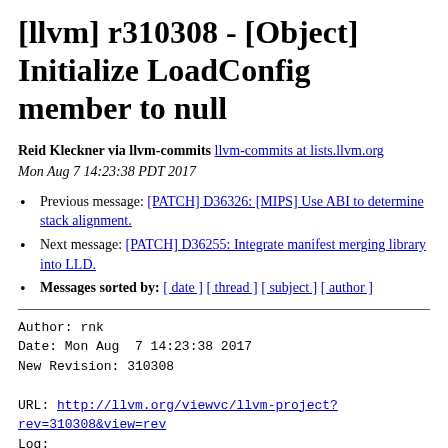[llvm] r310308 - [Object] Initialize LoadConfig member to null
Reid Kleckner via llvm-commits llvm-commits at lists.llvm.org Mon Aug 7 14:23:38 PDT 2017
Previous message: [PATCH] D36326: [MIPS] Use ABI to determine stack alignment.
Next message: [PATCH] D36255: Integrate manifest merging library into LLD.
Messages sorted by: [ date ] [ thread ] [ subject ] [ author ]
Author: rnk
Date: Mon Aug  7 14:23:38 2017
New Revision: 310308

URL: http://llvm.org/viewvc/llvm-project?rev=310308&view=rev
Log:
[Object] Initialize LoadConfig member to null